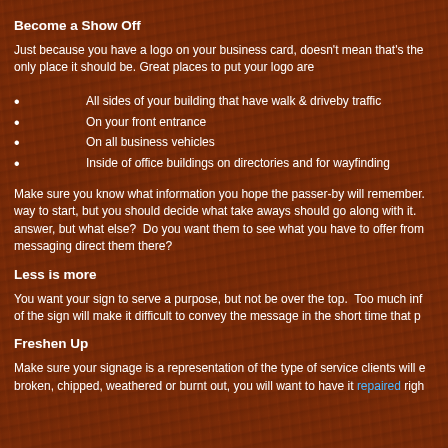Become a Show Off
Just because you have a logo on your business card, doesn't mean that's the only place it should be. Great places to put your logo are
All sides of your building that have walk & driveby traffic
On your front entrance
On all business vehicles
Inside of office buildings on directories and for wayfinding
Make sure you know what information you hope the passer-by will remember. Your name is a good way to start, but you should decide what take aways should go along with it. Your phone number is an answer, but what else?  Do you want them to see what you have to offer from your website, can your messaging direct them there?
Less is more
You want your sign to serve a purpose, but not be over the top.  Too much information on the face of the sign will make it difficult to convey the message in the short time that p
Freshen Up
Make sure your signage is a representation of the type of service clients will e broken, chipped, weathered or burnt out, you will want to have it repaired righ